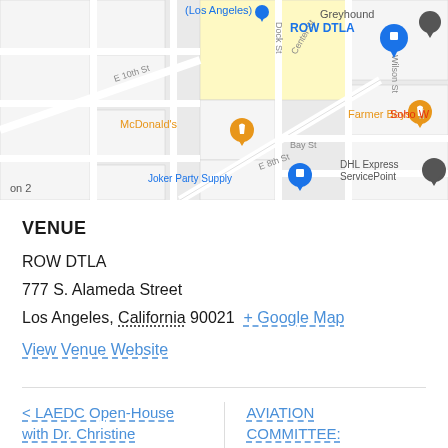[Figure (map): Google Maps screenshot showing downtown Los Angeles area with landmarks including ROW DTLA, McDonald's, Farmer Boys, Joker Party Supply, DHL Express ServicePoint, Greyhound, and street names including E 10th St, E 8th St, Bay St, Dock St, Center St, Wilson St.]
VENUE
ROW DTLA
777 S. Alameda Street
Los Angeles, California 90021 + Google Map
View Venue Website
< LAEDC Open-House with Dr. Christine Cooper, the LAEDC
AVIATION COMMITTEE: Burbank Bob Hope